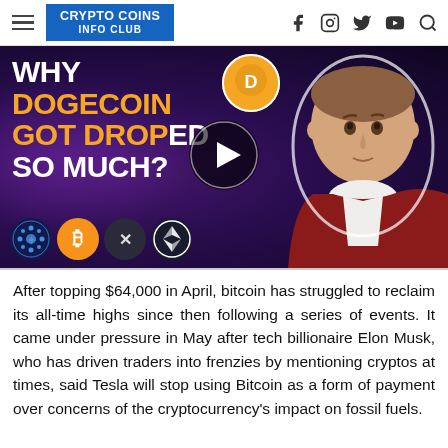CRYPTO COINS INFO CLUB
[Figure (screenshot): Video thumbnail showing text 'WHY DOGECOIN GOT DROPPED SO MUCH?' in white and yellow bold text on dark purple background, with a Dogecoin logo, crypto icons (Cardano, Bitcoin, XRP, Ethereum), a man in red jacket, and a play button overlay.]
After topping $64,000 in April, bitcoin has struggled to reclaim its all-time highs since then following a series of events. It came under pressure in May after tech billionaire Elon Musk, who has driven traders into frenzies by mentioning cryptos at times, said Tesla will stop using Bitcoin as a form of payment over concerns of the cryptocurrency's impact on fossil fuels.